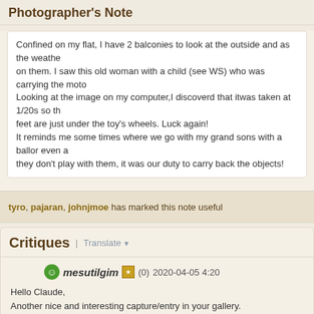Photographer's Note
Confined on my flat, I have 2 balconies to look at the outside and as the weather on them. I saw this old woman with a child (see WS) who was carrying the moto. Looking at the image on my computer,I discoverd that itwas taken at 1/20s so th feet are just under the toy's wheels. Luck again!
It reminds me some times where we go with my grand sons with a ballor even a they don't play with them, it was our duty to carry back the objects!
tyro, pajaran, johnjmoe has marked this note useful
Critiques | Translate ▼
mesutilgim (0) 2020-04-05 4:20
Hello Claude,
Another nice and interesting capture/entry in your gallery.
Taken with good pov and timing. Nice brigth colors. Usefull notes as well.
TFS and have a nice weekend
MESUT ILGIM
holmertz (104088) 2020-04-05 5:26